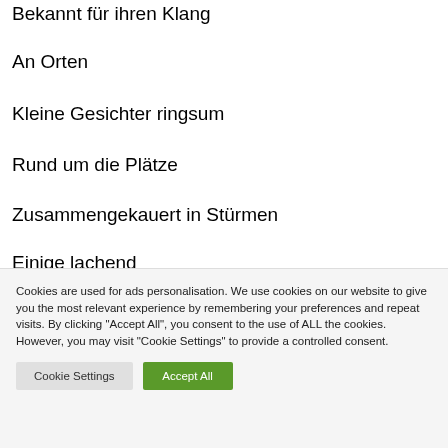Bekannt für ihren Klang
An Orten
Kleine Gesichter ringsum
Rund um die Plätze
Zusammengekauert in Stürmen
Einige lachend
Cookies are used for ads personalisation. We use cookies on our website to give you the most relevant experience by remembering your preferences and repeat visits. By clicking "Accept All", you consent to the use of ALL the cookies. However, you may visit "Cookie Settings" to provide a controlled consent.